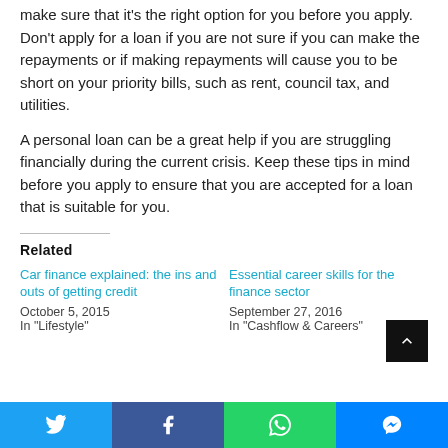make sure that it's the right option for you before you apply. Don't apply for a loan if you are not sure if you can make the repayments or if making repayments will cause you to be short on your priority bills, such as rent, council tax, and utilities.
A personal loan can be a great help if you are struggling financially during the current crisis. Keep these tips in mind before you apply to ensure that you are accepted for a loan that is suitable for you.
Related
Car finance explained: the ins and outs of getting credit
October 5, 2015
In "Lifestyle"
Essential career skills for the finance sector
September 27, 2016
In "Cashflow & Careers"
Twitter | Facebook | WhatsApp | Messenger